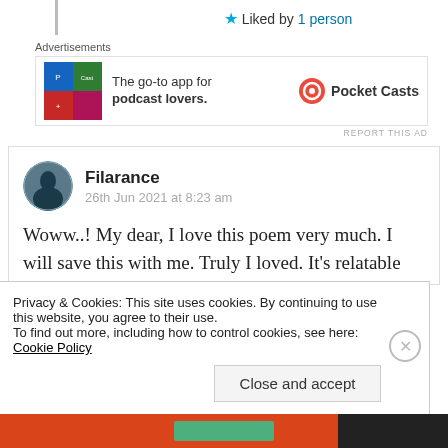★ Liked by 1 person
Advertisements
[Figure (screenshot): Pocket Casts advertisement: colorful app icon tiles on left, text 'The go-to app for podcast lovers.' and Pocket Casts logo on right]
REPORT THIS AD
Filarance
26th Jun 2021 at 8:23 am
Woww..! My dear, I love this poem very much. I will save this with me. Truly I loved. It's relatable
Privacy & Cookies: This site uses cookies. By continuing to use this website, you agree to their use.
To find out more, including how to control cookies, see here: Cookie Policy
Close and accept